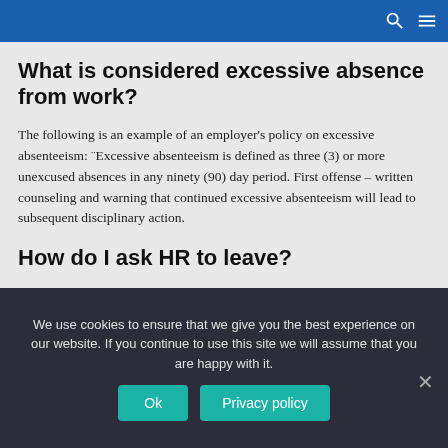[search icon] [menu icon]
What is considered excessive absence from work?
The following is an example of an employer's policy on excessive absenteeism: "Excessive absenteeism is defined as three (3) or more unexcused absences in any ninety (90) day period. First offense – written counseling and warning that continued excessive absenteeism will lead to subsequent disciplinary action.
How do I ask HR to leave?
If you are preparing to send a formal leave application, it should include:
We use cookies to ensure that we give you the best experience on our website. If you continue to use this site we will assume that you are happy with it.